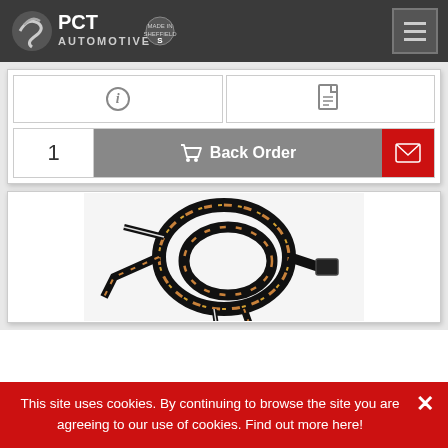[Figure (logo): PCT Automotive logo with 'Made in Sheffield' badge on dark grey navigation bar with hamburger menu button]
[Figure (screenshot): Two icon buttons: info (i) icon and PDF document icon]
[Figure (screenshot): Order row with quantity '1', grey 'Back Order' button with cart icon, and red email/envelope button]
[Figure (photo): Automotive wiring harness - coiled black braided cables with copper/orange patterned wiring on white background]
This site uses cookies. By continuing to browse the site you are agreeing to our use of cookies. Find out more here!